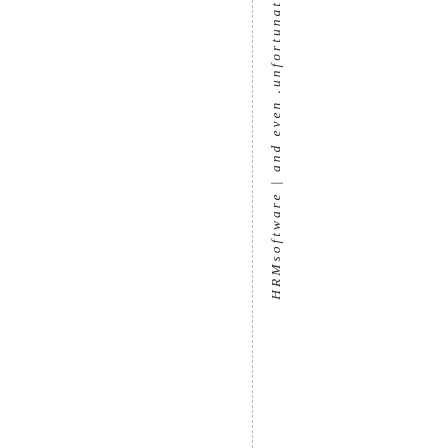HRMsoftware | and even .unfortunat